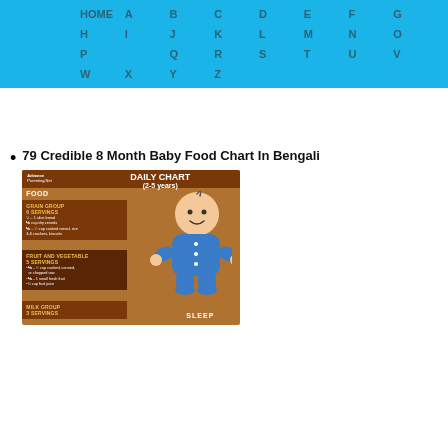HOME A B C D E F G H I J K L M N O P Q R S T U V W X Y Z
79 Credible 8 Month Baby Food Chart In Bengali
[Figure (infographic): Daily Chart (2-5 years) infographic showing food groups including Grain Group 6 servings, Fruit and Vegetable 5 servings, Milk Group, with a cartoon baby in blue outfit and SLEEP label at bottom.]